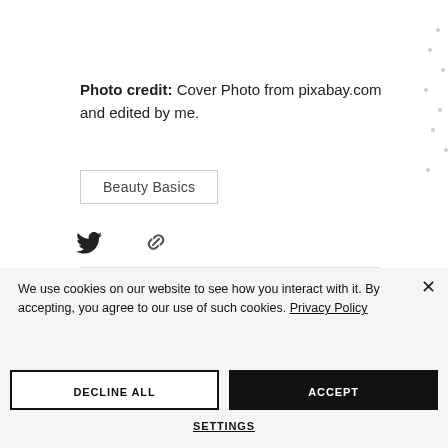Photo credit: Cover Photo from pixabay.com and edited by me.
Beauty Basics
[Figure (illustration): Twitter bird icon and link/chain icon for social sharing]
We use cookies on our website to see how you interact with it. By accepting, you agree to our use of such cookies. Privacy Policy
DECLINE ALL
ACCEPT
SETTINGS